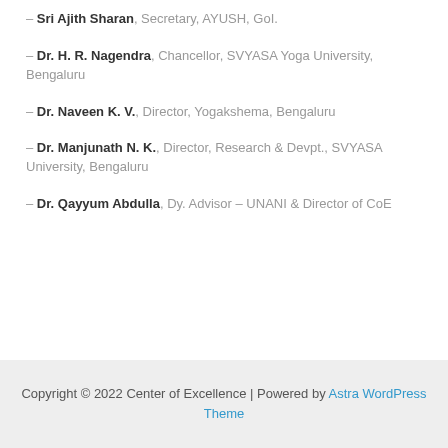– Sri Ajith Sharan, Secretary, AYUSH, GoI.
– Dr. H. R. Nagendra, Chancellor, SVYASA Yoga University, Bengaluru
– Dr. Naveen K. V., Director, Yogakshema, Bengaluru
– Dr. Manjunath N. K., Director, Research & Devpt., SVYASA University, Bengaluru
– Dr. Qayyum Abdulla, Dy. Advisor – UNANI & Director of CoE
Copyright © 2022 Center of Excellence | Powered by Astra WordPress Theme